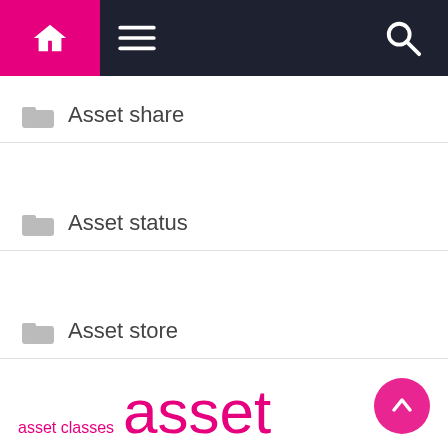[Figure (screenshot): Navigation bar with home icon, hamburger menu, and search icon on dark background]
Asset share
Asset status
Asset store
asset classes  asset management  asset store  financial markets  future results  getty images  invasion ukraine  long term  press release  short term  stock market  today announced  united states